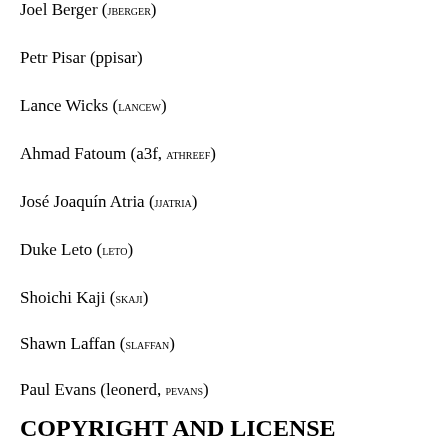Juan Julian Merelo-Guervos (jj)
Joel Berger (jberger)
Petr Pisar (ppisar)
Lance Wicks (lancew)
Ahmad Fatoum (a3f, athreef)
José Joaquín Atria (jjatria)
Duke Leto (leto)
Shoichi Kaji (skaji)
Shawn Laffan (slaffan)
Paul Evans (leonerd, pevans)
COPYRIGHT AND LICENSE